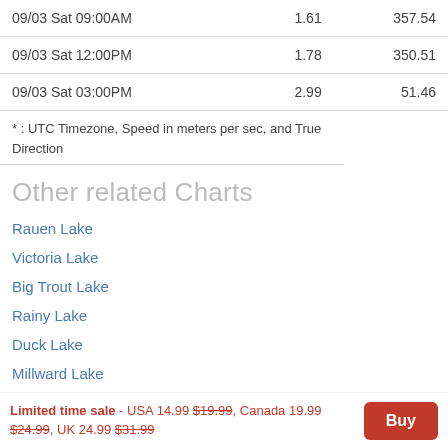| Date/Time |  | Speed | Direction |
| --- | --- | --- | --- |
| 09/03 Sat 09:00AM |  | 1.61 | 357.54 |
| 09/03 Sat 12:00PM |  | 1.78 | 350.51 |
| 09/03 Sat 03:00PM |  | 2.99 | 51.46 |
* : UTC Timezone, Speed in meters per sec, and True Direction
Other related Charts
Rauen Lake
Victoria Lake
Big Trout Lake
Rainy Lake
Duck Lake
Millward Lake
Smudge Lake
Limited time sale - USA 14.99 $19.99, Canada 19.99 $24.99, UK 24.99 $31.99